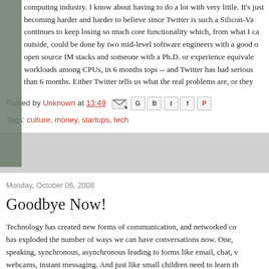computing industry. I know about having to do a lot with very little. It's just becoming harder and harder to believe since Twitter is such a Silicon-Va... continues to keep losing so much core functionality which, from what I ca... outside, could be done by two mid-level software engineers with a good ... open source IM stacks and someone with a Ph.D. or experience equivale... workloads among CPUs, in 6 months tops -- and Twitter has had serious... than 6 months. Either Twitter tells us what the real problems are, or they
Posted by Unknown at 13:49
Tags: culture, money, startups, tech
Monday, October 06, 2008
Goodbye Now!
Technology has created new forms of communication, and networked co... has exploded the number of ways we can have conversations now. One,... speaking, synchronous, asynchronous leading to forms like email, chat, ... webcams, instant messaging. And just like small children need to learn th